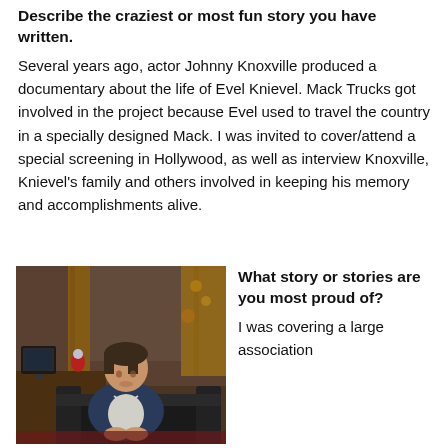Describe the craziest or most fun story you have written.
Several years ago, actor Johnny Knoxville produced a documentary about the life of Evel Knievel. Mack Trucks got involved in the project because Evel used to travel the country in a specially designed Mack. I was invited to cover/attend a special screening in Hollywood, as well as interview Knoxville, Knievel's family and others involved in keeping his memory and accomplishments alive.
[Figure (photo): A man in a dark blazer sitting on a black leather couch in a dimly lit room with vintage decor, curtains, and a desk with a monitor in the background.]
What story or stories are you most proud of?
I was covering a large association